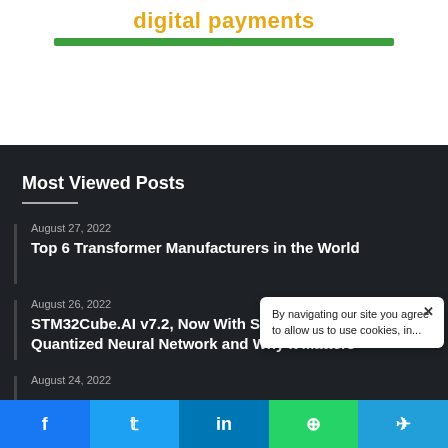digital payments
Most Viewed Posts
August 27, 2022
Top 6 Transformer Manufacturers in the World
August 26, 2022
STM32Cube.AI v7.2, Now With Support for Deeply Quantized Neural Network and Why It Matters
August 24, 2022
By navigating our site you agree to allow us to use cookies, in...